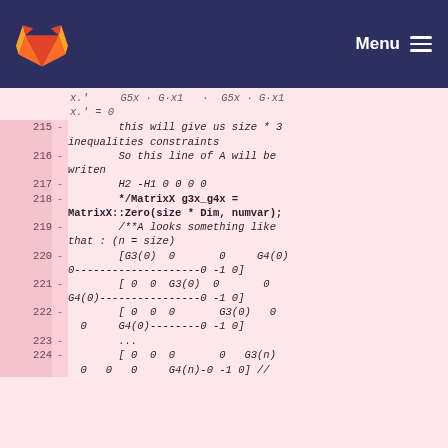GitLab Menu
Code diff showing lines 215-224 of matrix inequality constraints implementation
215 - this will give us size * 3 inequalities constraints
216 - So this line of A will be writen
217 - H2 -H1 0 0 0 0
218 - */MatrixX g3x_g4x = MatrixX::Zero(size * Dim, numvar);
219 - /**A looks something like that : (n = size)
220 - [G3(0)  0       0     G4(0)  0--------------------0 -1 0]
221 - [ 0  0  G3(0)  0       0  G4(0)----------------0 -1 0]
222 - [ 0  0  0       G3(0)   0   0     G4(0)--------0 -1 0]
223 - ...
224 - [ 0  0  0       0   G3(n)  0   0   0     G4(n)-0 -1 0] //